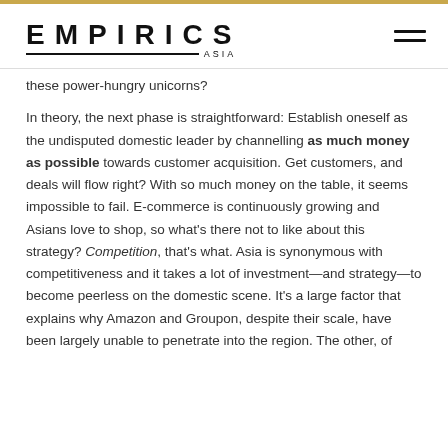EMPIRICS ASIA
these power-hungry unicorns?
In theory, the next phase is straightforward: Establish oneself as the undisputed domestic leader by channelling as much money as possible towards customer acquisition. Get customers, and deals will flow right? With so much money on the table, it seems impossible to fail. E-commerce is continuously growing and Asians love to shop, so what’s there not to like about this strategy? Competition, that’s what. Asia is synonymous with competitiveness and it takes a lot of investment—and strategy—to become peerless on the domestic scene. It’s a large factor that explains why Amazon and Groupon, despite their scale, have been largely unable to penetrate into the region. The other, of